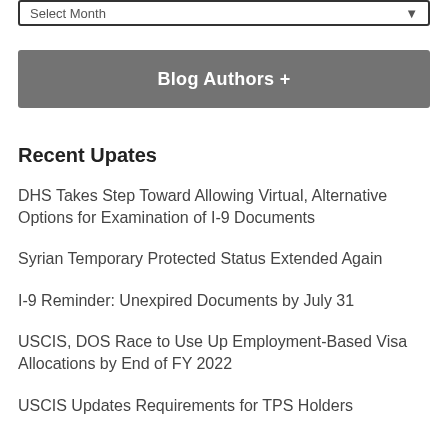Select Month
Blog Authors +
Recent Upates
DHS Takes Step Toward Allowing Virtual, Alternative Options for Examination of I-9 Documents
Syrian Temporary Protected Status Extended Again
I-9 Reminder: Unexpired Documents by July 31
USCIS, DOS Race to Use Up Employment-Based Visa Allocations by End of FY 2022
USCIS Updates Requirements for TPS Holders